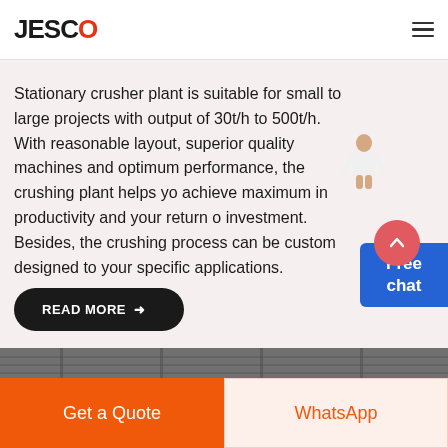JESCO
Stationary crusher plant is suitable for small to large projects with output of 30t/h to 500t/h. With reasonable layout, superior quality machines and optimum performance, the crushing plant helps you achieve maximum in productivity and your return of investment. Besides, the crushing process can be custom designed to your specific applications.
READ MORE →
[Figure (illustration): Chat widget with 'Free chat' label and person illustration]
[Figure (photo): Industrial machinery/crusher plant photo strip at bottom]
Get a Quote
WhatsApp